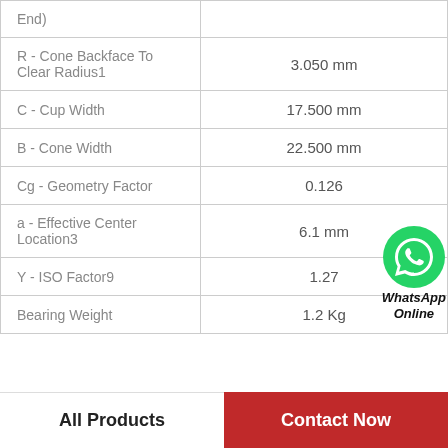| Parameter | Value |
| --- | --- |
| (End) |  |
| R - Cone Backface To Clear Radius1 | 3.050 mm |
| C - Cup Width | 17.500 mm |
| B - Cone Width | 22.500 mm |
| Cg - Geometry Factor | 0.126 |
| a - Effective Center Location3 | 6.1 mm |
| Y - ISO Factor9 | 1.27 |
| Bearing Weight | 1.2 Kg |
[Figure (logo): WhatsApp Online button with green phone icon]
All Products    Contact Now